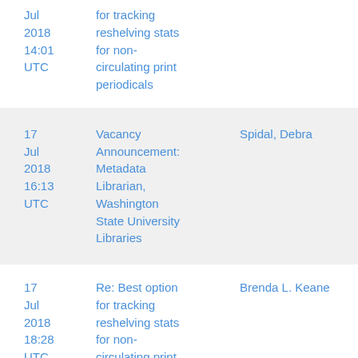| Date | Subject | Sender |
| --- | --- | --- |
| 17 Jul 2018 14:01 UTC | for tracking reshelving stats for non-circulating print periodicals |  |
| 17 Jul 2018 16:13 UTC | Vacancy Announcement: Metadata Librarian, Washington State University Libraries | Spidal, Debra |
| 17 Jul 2018 18:28 UTC | Re: Best option for tracking reshelving stats for non-circulating print | Brenda L. Keane |